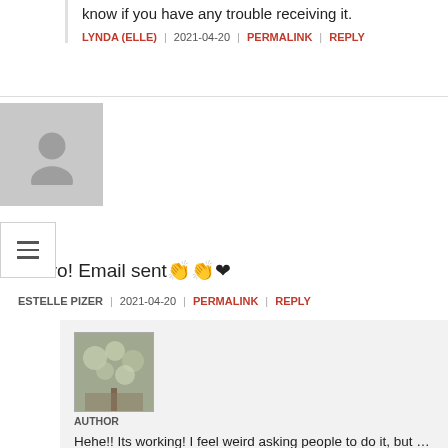know if you have any trouble receiving it.
LYNDA (ELLE) | 2021-04-20 | PERMALINK | REPLY
Bravo! Email sent👏👏❤
ESTELLE PIZER | 2021-04-20 | PERMALINK | REPLY
AUTHOR
Hehe!! Its working! I feel weird asking people to do it, but … well its an experiment after all. Sending you an email in two minutes. 🙂
LYNDA (ELLE) | 2021-04-20 | PERMALINK | REPLY